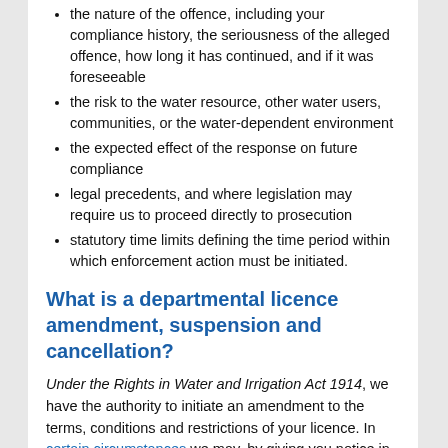the nature of the offence, including your compliance history, the seriousness of the alleged offence, how long it has continued, and if it was foreseeable
the risk to the water resource, other water users, communities, or the water-dependent environment
the expected effect of the response on future compliance
legal precedents, and where legislation may require us to proceed directly to prosecution
statutory time limits defining the time period within which enforcement action must be initiated.
What is a departmental licence amendment, suspension and cancellation?
Under the Rights in Water and Irrigation Act 1914, we have the authority to initiate an amendment to the terms, conditions and restrictions of your licence. In certain circumstances we may, by giving you notice in writing:
Vary the duration of a licence
Vary, add to or remove and term, condition or